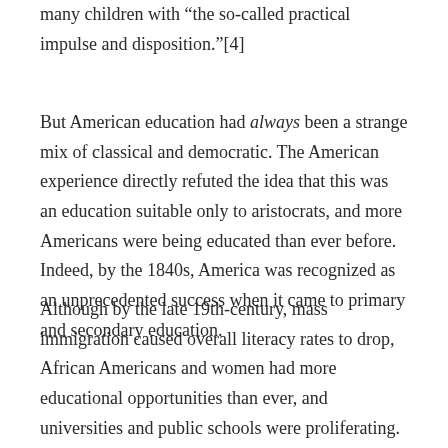many children with “the so-called practical impulse and disposition.”[4]
But American education had always been a strange mix of classical and democratic. The American experience directly refuted the idea that this was an education suitable only to aristocrats, and more Americans were being educated than ever before. Indeed, by the 1840s, America was recognized as an unprecedented success when it came to primary and secondary education.
Although by the late 19th-century, mass immigration caused overall literacy rates to drop, African Americans and women had more educational opportunities than ever, and universities and public schools were proliferating. The American education situation was far from perfect, but it certainly outperformed other